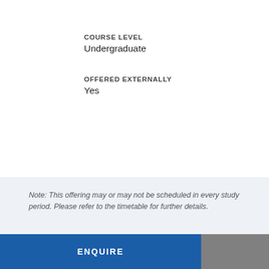COURSE LEVEL
Undergraduate
OFFERED EXTERNALLY
Yes
Note: This offering may or may not be scheduled in every study period. Please refer to the timetable for further details.
COURSE ID
15467O
UNIT VALUE
4.5
UNIVERSITY-WIDE ELECTIVE COURSE
Yes
TIM